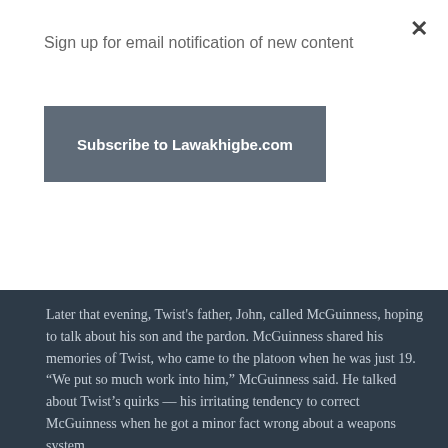Sign up for email notification of new content
Subscribe to Lawakhigbe.com
Later that evening, Twist's father, John, called McGuinness, hoping to talk about his son and the pardon. McGuinness shared his memories of Twist, who came to the platoon when he was just 19. “We put so much work into him,” McGuinness said. He talked about Twist’s quirks — his irritating tendency to correct McGuinness when he got a minor fact wrong about a weapons system.
Twist’s father asked whether the murders and the trial might have contributed to his son’s torment. Twist wasn’t on patrol the day of the killings, but McGuinness believed